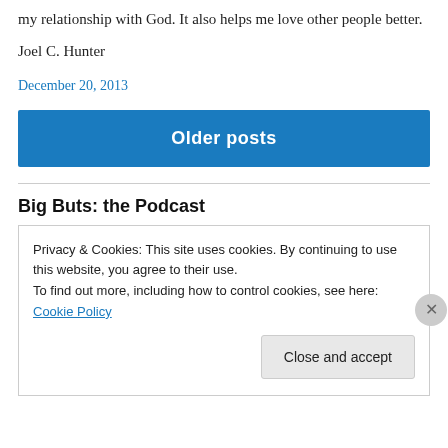my relationship with God. It also helps me love other people better.
Joel C. Hunter
December 20, 2013
Older posts
Big Buts: the Podcast
Privacy & Cookies: This site uses cookies. By continuing to use this website, you agree to their use.
To find out more, including how to control cookies, see here: Cookie Policy
Close and accept